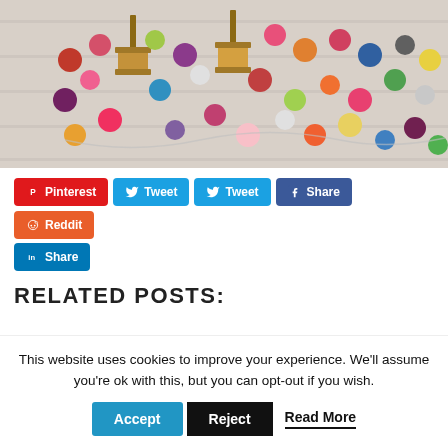[Figure (photo): Colorful felt balls/pom-poms scattered on a white wooden surface with wooden thread spools]
Pinterest  Tweet  Tweet  Share  Reddit  Share
RELATED POSTS:
This website uses cookies to improve your experience. We'll assume you're ok with this, but you can opt-out if you wish.
Accept  Reject  Read More